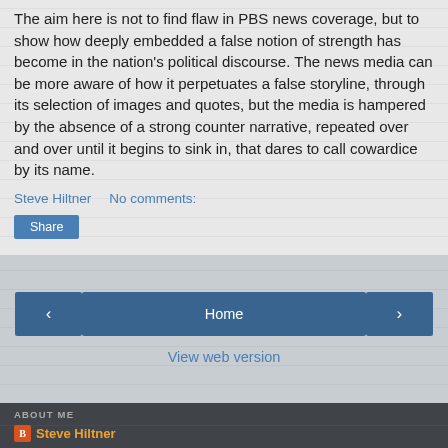The aim here is not to find flaw in PBS news coverage, but to show how deeply embedded a false notion of strength has become in the nation's political discourse. The news media can be more aware of how it perpetuates a false storyline, through its selection of images and quotes, but the media is hampered by the absence of a strong counter narrative, repeated over and over until it begins to sink in, that dares to call cowardice by its name.
Steve Hiltner    No comments:
Share
‹
Home
›
View web version
ABOUT ME
Steve Hiltner
Writer, Musician, Naturalist, Actor, degrees in botany and water quality. Training in saxophone, clarinet, piano, composition, acting. I can be reached at stevehiltner (at)gmail.com